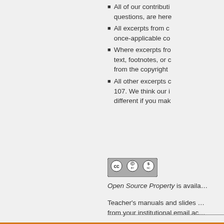All of our contributi... questions, are here
All excerpts from c... once-applicable co
Where excerpts fro... text, footnotes, or c... from the copyright
All other excerpts c... 107. We think our i... different if you mak
[Figure (logo): Creative Commons BY-NC license badge]
Open Source Property is avail…
Teacher’s manuals and slides … from your institutional email ac…